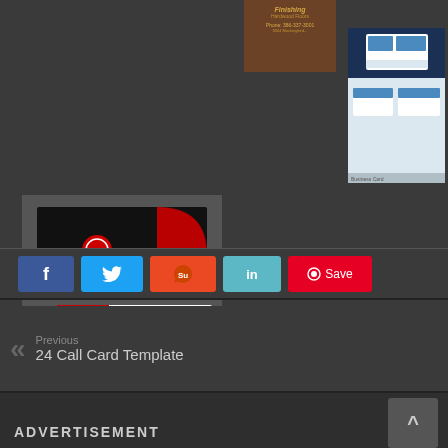[Figure (photo): Brown wooden business card thumbnail with italic gold text 'Finishing Hardwood Floors', phone and address details]
[Figure (photo): Blue and white business card mockup showing stationery set with navy diagonal design]
[Figure (photo): Black, white and red business card design mockup showing two cards, one with QR code]
[Figure (infographic): Social sharing buttons: Facebook (f), Twitter (bird icon), StumbleUpon (Su), LinkedIn (in), Pinterest Save button]
Previous
24 Call Card Template
ADVERTISEMENT